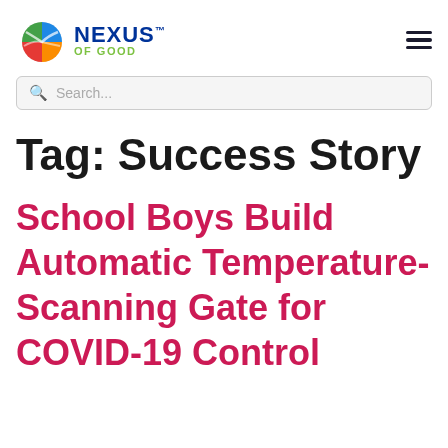[Figure (logo): Nexus of Good logo with colorful globe icon and text 'NEXUS OF GOOD']
Tag: Success Story
School Boys Build Automatic Temperature-Scanning Gate for COVID-19 Control